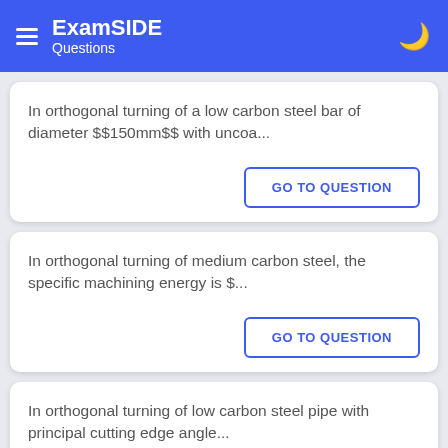ExamSIDE Questions
In orthogonal turning of a low carbon steel bar of diameter $$150mm$$ with uncoa...
GO TO QUESTION
In orthogonal turning of medium carbon steel, the specific machining energy is $...
GO TO QUESTION
In orthogonal turning of low carbon steel pipe with principal cutting edge angle...